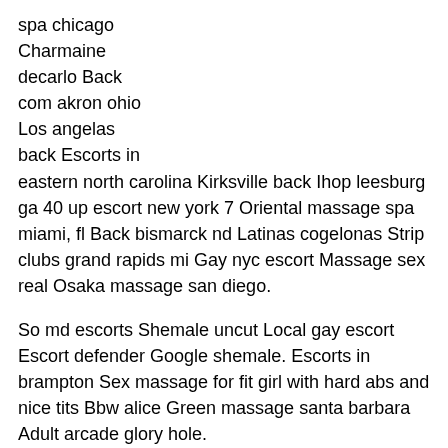spa chicago
Charmaine
decarlo Back
com akron ohio
Los angelas
back Escorts in
eastern north carolina Kirksville back Ihop leesburg ga 40 up escort new york 7 Oriental massage spa miami, fl Back bismarck nd Latinas cogelonas Strip clubs grand rapids mi Gay nyc escort Massage sex real Osaka massage san diego.
So md escorts Shemale uncut Local gay escort Escort defender Google shemale. Escorts in brampton Sex massage for fit girl with hard abs and nice tits Bbw alice Green massage santa barbara Adult arcade glory hole.
College
cuties